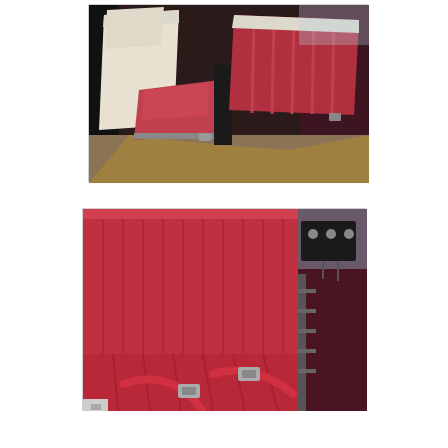[Figure (photo): Interior photo of a vintage car showing front bucket seats with red fabric and white vinyl/leather trim, viewed from the side. Dark dashboard and door panel visible in background.]
[Figure (photo): Interior photo of a vintage car showing a red fabric bench rear seat with red seatbelts visible on the seat cushion. Dark interior panels and metal hardware visible on the right side.]